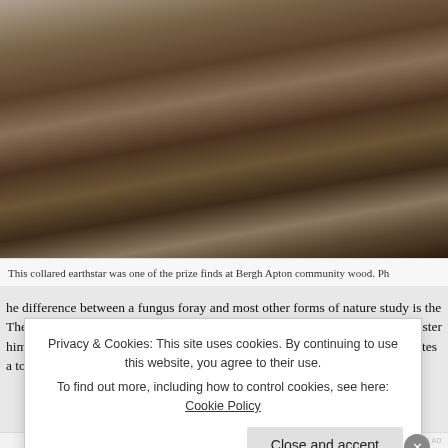[Figure (photo): Close-up photograph of a collared earthstar fungus among leaves and debris on forest floor at Bergh Apton community wood.]
This collared earthstar was one of the prize finds at Bergh Apton community wood. Ph
he difference between a fungus foray and most other forms of nature study is the There were more than 20 of us, aged eight to 80, joking and laughing and cluster himself like a rare treasured specimen. Tony Leech is an expert who contributes a to a group as he does knowledge.
Each person scoured the ground for a contribution to bring back to the central hu
Privacy & Cookies: This site uses cookies. By continuing to use this website, you agree to their use.
To find out more, including how to control cookies, see here: Cookie Policy
Close and accept